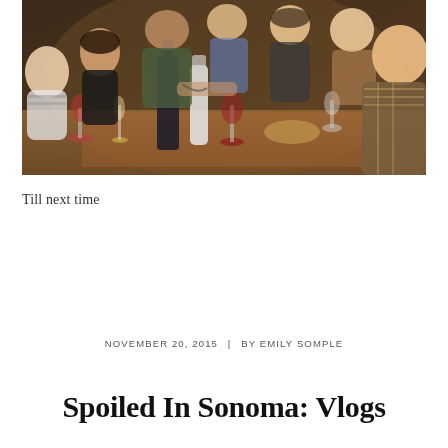[Figure (photo): Group of people sitting around a dinner table with wine glasses, wine bottles, and food, toasting and smiling at the camera in a warm indoor setting.]
Till next time
NOVEMBER 20, 2015  |  BY EMILY SOMPLE
Spoiled In Sonoma: Vlogs